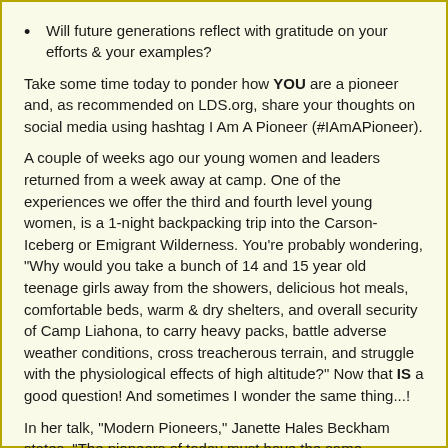Will future generations reflect with gratitude on your efforts & your examples?
Take some time today to ponder how YOU are a pioneer and, as recommended on LDS.org, share your thoughts on social media using hashtag I Am A Pioneer (#IAmAPioneer).
A couple of weeks ago our young women and leaders returned from a week away at camp. One of the experiences we offer the third and fourth level young women, is a 1-night backpacking trip into the Carson-Iceberg or Emigrant Wilderness. You’re probably wondering, “Why would you take a bunch of 14 and 15 year old teenage girls away from the showers, delicious hot meals, comfortable beds, warm & dry shelters, and overall security of Camp Liahona, to carry heavy packs, battle adverse weather conditions, cross treacherous terrain, and struggle with the physiological effects of high altitude?” Now that IS a good question! And sometimes I wonder the same thing...!
In her talk, “Modern Pioneers,” Janette Hales Beckham states, “The pioneers of today must have the same character and determination.